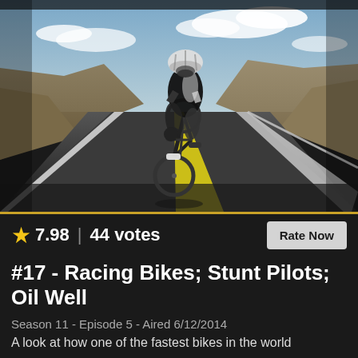[Figure (photo): A cyclist in black and white racing kit and helmet riding a road bike toward the camera on an open highway, with arid mountainous terrain and cloudy sky in the background.]
★ 7.98 | 44 votes  Rate Now
#17 - Racing Bikes; Stunt Pilots; Oil Well
Season 11 - Episode 5 - Aired 6/12/2014
A look at how one of the fastest bikes in the world